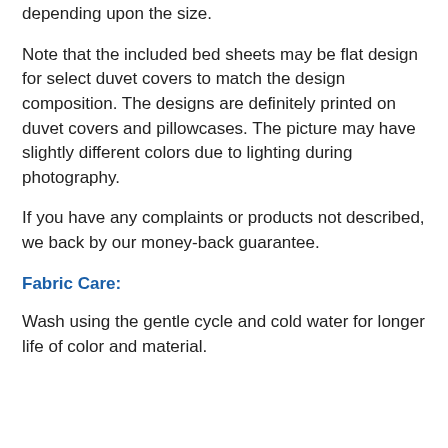depending upon the size.
Note that the included bed sheets may be flat design for select duvet covers to match the design composition. The designs are definitely printed on duvet covers and pillowcases. The picture may have slightly different colors due to lighting during photography.
If you have any complaints or products not described, we back by our money-back guarantee.
Fabric Care:
Wash using the gentle cycle and cold water for longer life of color and material.